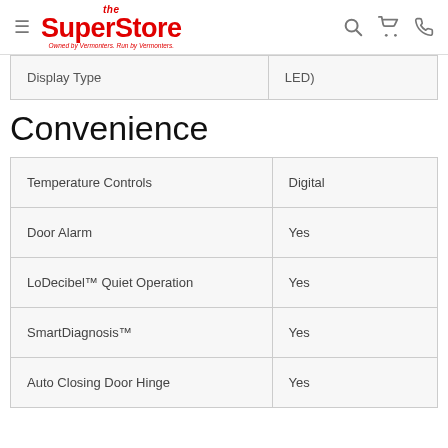The SuperStore — Owned by Vermonters. Run by Vermonters.
| Display Type | LED) |
| --- | --- |
Convenience
| Feature | Value |
| --- | --- |
| Temperature Controls | Digital |
| Door Alarm | Yes |
| LoDecibel™ Quiet Operation | Yes |
| SmartDiagnosis™ | Yes |
| Auto Closing Door Hinge | Yes |